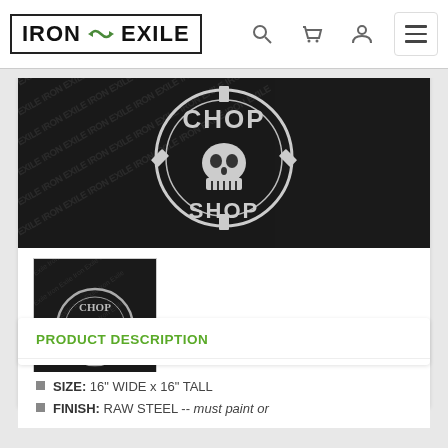[Figure (logo): Iron Exile brand logo with skull and text in a rectangular border box, with navigation icons (search, cart, user, menu)]
[Figure (photo): Large product image showing a metal cut-out chop shop skull/gear design on black branded Iron Exile fabric background]
[Figure (photo): Thumbnail image of the same chop shop skull gear metal cut-out design on black Iron Exile branded background]
PRODUCT DESCRIPTION
SIZE: 16" WIDE x 16" TALL
FINISH: RAW STEEL -- must paint or